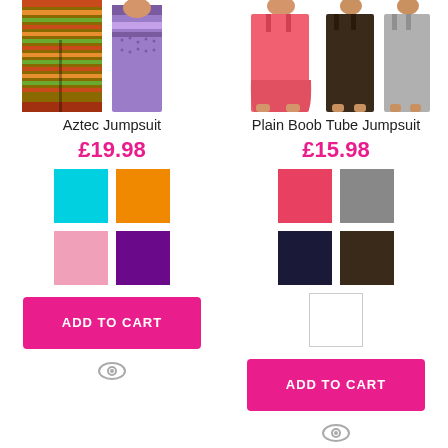[Figure (photo): Aztec Jumpsuit product photos showing patterned wide-leg pants and a woman wearing the jumpsuit]
Aztec Jumpsuit
£19.98
[Figure (illustration): Color swatches: cyan, orange, pink, purple]
ADD TO CART
[Figure (photo): Plain Boob Tube Jumpsuit product photos showing coral, brown, and grey versions on models]
Plain Boob Tube Jumpsuit
£15.98
[Figure (illustration): Color swatches: coral/red, grey, dark navy, dark brown, white]
ADD TO CART